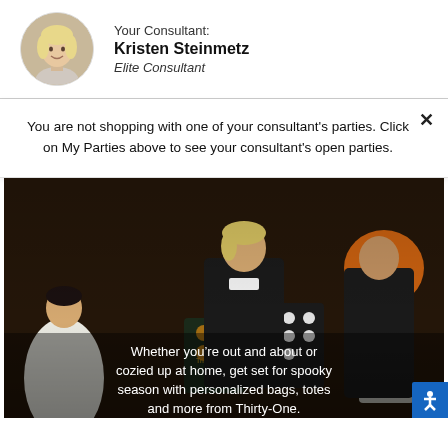Your Consultant:
Kristen Steinmetz
Elite Consultant
You are not shopping with one of your consultant's parties. Click on My Parties above to see your consultant's open parties.
[Figure (photo): Halloween scene with children in costumes holding Thirty-One branded bags including a trick-or-treat tote with skull pattern and a pouch with ghost pattern]
Whether you're out and about or cozied up at home, get set for spooky season with personalized bags, totes and more from Thirty-One.